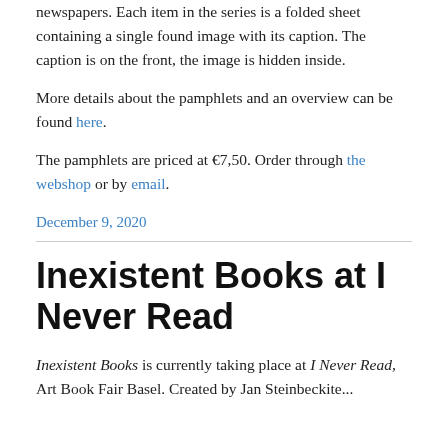newspapers. Each item in the series is a folded sheet containing a single found image with its caption. The caption is on the front, the image is hidden inside.
More details about the pamphlets and an overview can be found here.
The pamphlets are priced at €7,50. Order through the webshop or by email.
December 9, 2020
Inexistent Books at I Never Read
Inexistent Books is currently taking place at I Never Read, Art Book Fair Basel. Created by Jan Steinbeckite...